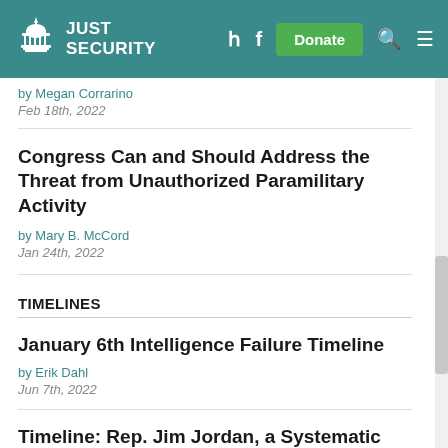JUST SECURITY — Navigation header with Twitter, Facebook, Donate, Search, Menu
by Megan Corrarino
Feb 18th, 2022
Congress Can and Should Address the Threat from Unauthorized Paramilitary Activity
by Mary B. McCord
Jan 24th, 2022
TIMELINES
January 6th Intelligence Failure Timeline
by Erik Dahl
Jun 7th, 2022
Timeline: Rep. Jim Jordan, a Systematic Disinformation Campaign, and January 6
by Justin Hendrix, Nicholas Tonckens and Sruthi